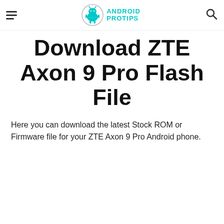Android Pro Tips
Download ZTE Axon 9 Pro Flash File
Here you can download the latest Stock ROM or Firmware file for your ZTE Axon 9 Pro Android phone.